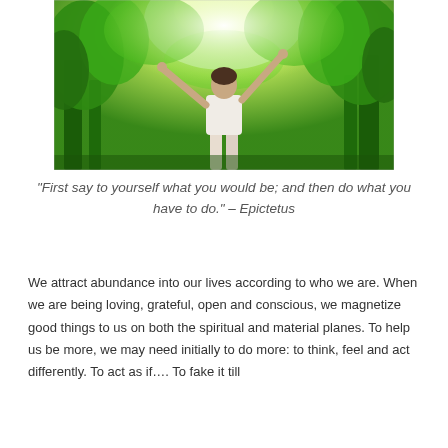[Figure (photo): A woman in a white sleeveless top standing in a lush green forest with arms raised upward, sunlight filtering through the tree canopy above her.]
“First say to yourself what you would be; and then do what you have to do.” – Epictetus
We attract abundance into our lives according to who we are. When we are being loving, grateful, open and conscious, we magnetize good things to us on both the spiritual and material planes. To help us be more, we may need initially to do more: to think, feel and act differently. To act as if…. To fake it till